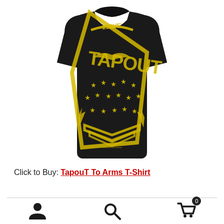[Figure (photo): Black Tapout 'To Arms' T-shirt shown from the back, featuring bold yellow/gold graphic with stars, lightning bolts, shield design, and 'TAPOUT' text with distressed vintage print effect]
Click to Buy: TapouT To Arms T-Shirt
[Figure (infographic): Website footer navigation bar with three icons: user/account icon, search magnifying glass icon, and shopping cart icon with badge showing '0']